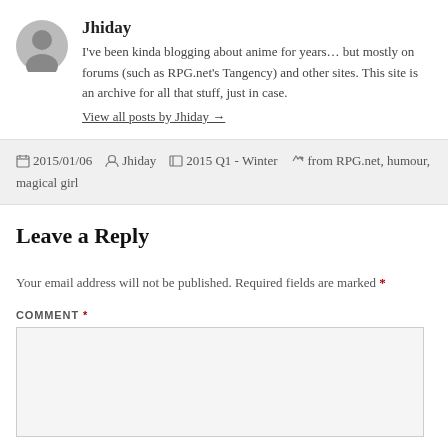Jhiday
I've been kinda blogging about anime for years... but mostly on forums (such as RPG.net's Tangency) and other sites. This site is an archive for all that stuff, just in case.
View all posts by Jhiday →
2015/01/06  Jhiday  2015 Q1 - Winter  from RPG.net, humour, magical girl
Leave a Reply
Your email address will not be published. Required fields are marked *
COMMENT *